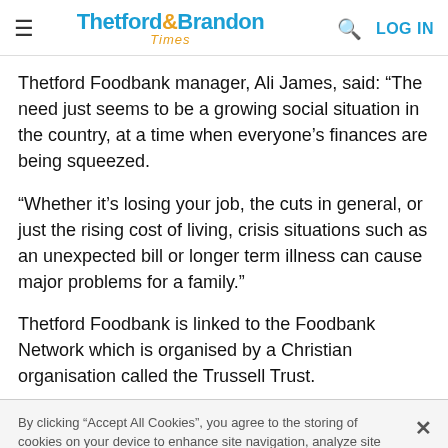Thetford & Brandon Times
Thetford Foodbank manager, Ali James, said: “The need just seems to be a growing social situation in the country, at a time when everyone’s finances are being squeezed.
“Whether it’s losing your job, the cuts in general, or just the rising cost of living, crisis situations such as an unexpected bill or longer term illness can cause major problems for a family.”
Thetford Foodbank is linked to the Foodbank Network which is organised by a Christian organisation called the Trussell Trust.
By clicking “Accept All Cookies”, you agree to the storing of cookies on your device to enhance site navigation, analyze site usage, and assist in our marketing efforts.